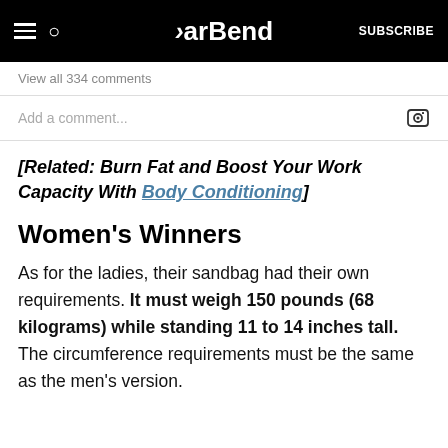BarBend — SUBSCRIBE
View all 334 comments
Add a comment...
[Related: Burn Fat and Boost Your Work Capacity With Body Conditioning]
Women's Winners
As for the ladies, their sandbag had their own requirements. It must weigh 150 pounds (68 kilograms) while standing 11 to 14 inches tall. The circumference requirements must be the same as the men's version.